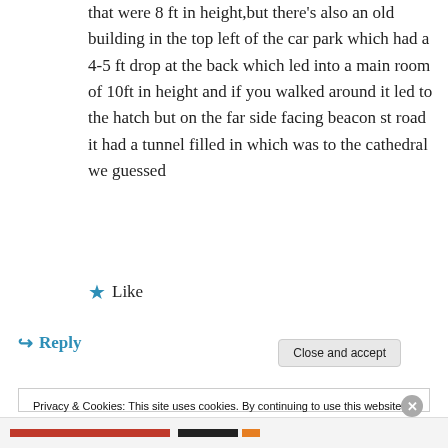that were 8 ft in height,but there's also an old building in the top left of the car park which had a 4-5 ft drop at the back which led into a main room of 10ft in height and if you walked around it led to the hatch but on the far side facing beacon st road it had a tunnel filled in which was to the cathedral we guessed
★ Like
↪ Reply
Privacy & Cookies: This site uses cookies. By continuing to use this website, you agree to their use.
To find out more, including how to control cookies, see here: Cookie Policy
Close and accept